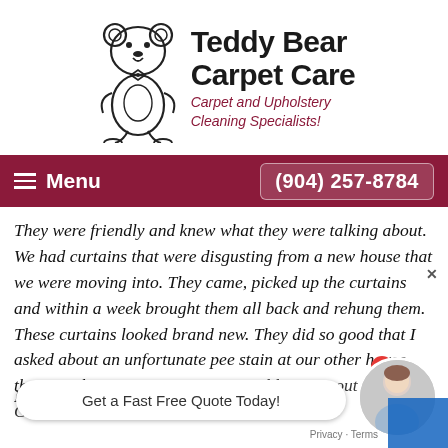[Figure (logo): Teddy Bear Carpet Care logo with illustrated teddy bear and text 'Teddy Bear Carpet Care - Carpet and Upholstery Cleaning Specialists!']
Menu  (904) 257-8784
They were friendly and knew what they were talking about. We had curtains that were disgusting from a new house that we were moving into. They came, picked up the curtains and within a week brought them all back and rehung them. These curtains looked brand new. They did so good that I asked about an unfortunate pee stain at our other house that no other carpet company was able to get out. Teddy's Care was... ke the carpet lo... again... So very thankful I called them. Anytime I need any flooring done or
Get a Fast Free Quote Today!